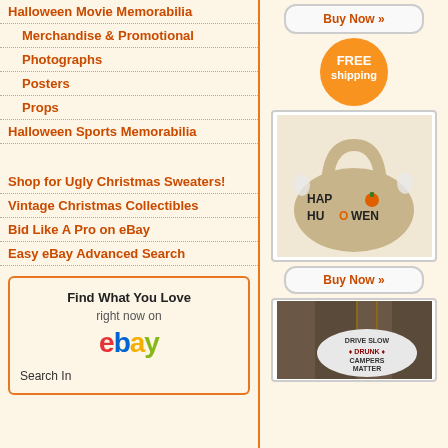Halloween Movie Memorabilia
Merchandise & Promotional
Photographs
Posters
Props
Halloween Sports Memorabilia
Shop for Ugly Christmas Sweaters!
Vintage Christmas Collectibles
Bid Like A Pro on eBay
Easy eBay Advanced Search
Find What You Love right now on eBay Search In
[Figure (illustration): Orange FREE shipping badge circle]
[Figure (photo): Happy Halloween ceramic/fabric bag or basket with ghost characters spelling HAPHULOWEN]
Buy Now »
[Figure (photo): Wood sign reading DRIVE SLOW DRUNK CAMPERS MATTER hanging on rustic wood background]